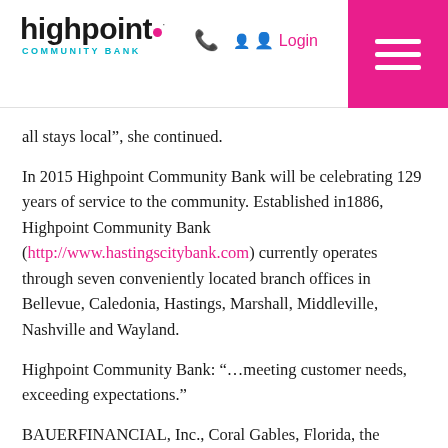highpoint COMMUNITY BANK — Login
all stays local”, she continued.
In 2015 Highpoint Community Bank will be celebrating 129 years of service to the community. Established in1886, Highpoint Community Bank (http://www.hastingscitybank.com) currently operates through seven conveniently located branch offices in Bellevue, Caledonia, Hastings, Marshall, Middleville, Nashville and Wayland.
Highpoint Community Bank: “…meeting customer needs, exceeding expectations.”
BAUERFINANCIAL, Inc., Coral Gables, Florida, the nation’s leading independent bank and credit union rating and research firm, has been reporting on and analyzing the performance of U.S. banks and credit unions since 1983. No institution pays BauerFinancial to rate it, nor